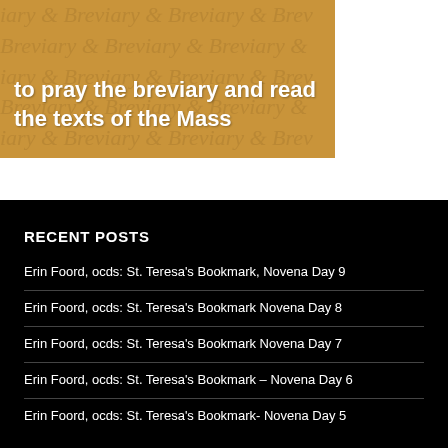[Figure (illustration): Gold/tan colored banner image with watermark text reading 'Breviary' repeated in italic, overlaid with bold white text reading 'to pray the breviary and read the texts of the Mass']
RECENT POSTS
Erin Foord, ocds: St. Teresa's Bookmark, Novena Day 9
Erin Foord, ocds: St. Teresa's Bookmark Novena Day 8
Erin Foord, ocds: St. Teresa's Bookmark Novena Day 7
Erin Foord, ocds: St. Teresa's Bookmark – Novena Day 6
Erin Foord, ocds: St. Teresa's Bookmark- Novena Day 5